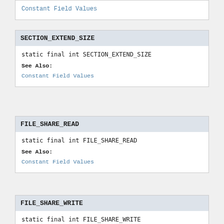Constant Field Values
SECTION_EXTEND_SIZE
static final int SECTION_EXTEND_SIZE
See Also:
Constant Field Values
FILE_SHARE_READ
static final int FILE_SHARE_READ
See Also:
Constant Field Values
FILE_SHARE_WRITE
static final int FILE_SHARE_WRITE